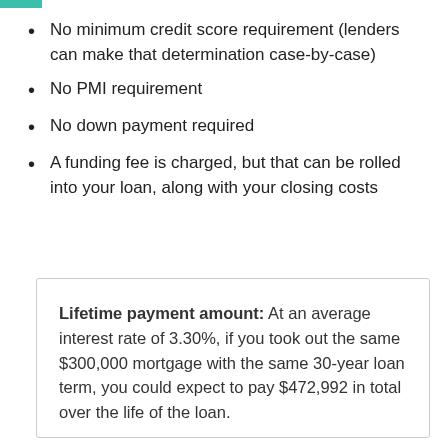No minimum credit score requirement (lenders can make that determination case-by-case)
No PMI requirement
No down payment required
A funding fee is charged, but that can be rolled into your loan, along with your closing costs
Lifetime payment amount: At an average interest rate of 3.30%, if you took out the same $300,000 mortgage with the same 30-year loan term, you could expect to pay $472,992 in total over the life of the loan.